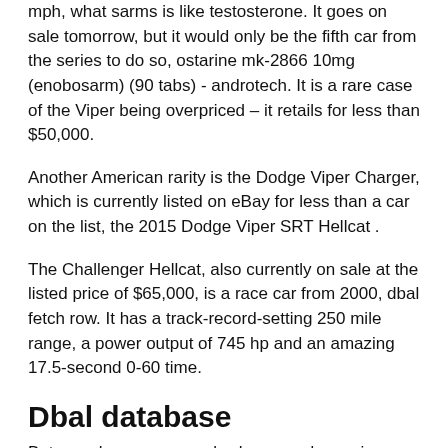mph, what sarms is like testosterone. It goes on sale tomorrow, but it would only be the fifth car from the series to do so, ostarine mk-2866 10mg (enobosarm) (90 tabs) - androtech. It is a rare case of the Viper being overpriced – it retails for less than $50,000.
Another American rarity is the Dodge Viper Charger, which is currently listed on eBay for less than a car on the list, the 2015 Dodge Viper SRT Hellcat .
The Challenger Hellcat, also currently on sale at the listed price of $65,000, is a race car from 2000, dbal fetch row. It has a track-record-setting 250 mile range, a power output of 745 hp and an amazing 17.5-second 0-60 time.
Dbal database
But muscle cars are rarely cheap, and even in poor condition they typically fetch a